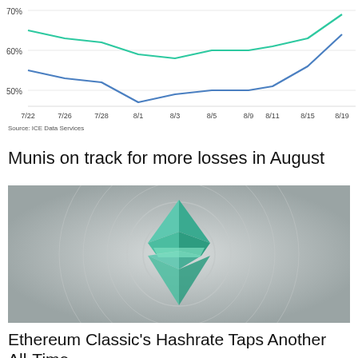[Figure (line-chart): ]
Source: ICE Data Services
Munis on track for more losses in August
[Figure (photo): 3D rendering of Ethereum Classic diamond-shaped logo in teal/green color on grey circular ripple background]
Ethereum Classic's Hashrate Taps Another All-Time